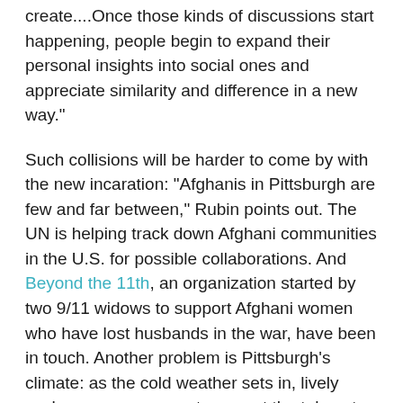create....Once those kinds of discussions start happening, people begin to expand their personal insights into social ones and appreciate similarity and difference in a new way."
Such collisions will be harder to come by with the new incaration: "Afghanis in Pittsburgh are few and far between," Rubin points out. The UN is helping track down Afghani communities in the U.S. for possible collaborations. And Beyond the 11th, an organization started by two 9/11 widows to support Afghani women who have lost husbands in the war, have been in touch. Another problem is Pittsburgh's climate: as the cold weather sets in, lively exchanges among customers at the takeout window are bound to be curtailed.
After its Afghani phase, Conflict Kitchen plans to turn North Korean and then Venezuelan. Its founders are also considering an offshoot that focuses on countries involved in border conflicts. Feuding states such as